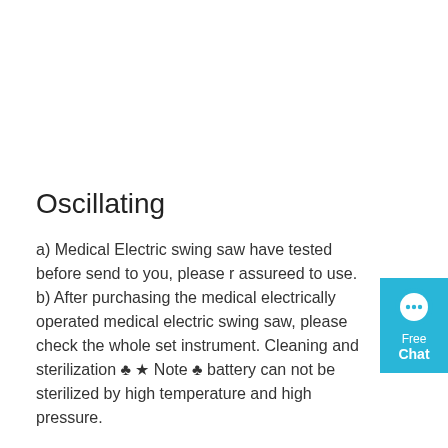Oscillating
a) Medical Electric swing saw have tested before send to you, please reassureed to use. b) After purchasing the medical electrically operated medical electric swing saw, please check the whole set instrument. Cleaning and sterilization ★ Note battery can not be sterilized by high temperature and high pressure.
[Figure (other): Blue chat widget in the top-right corner with a speech bubble icon and text 'Free Chat']
Get Price